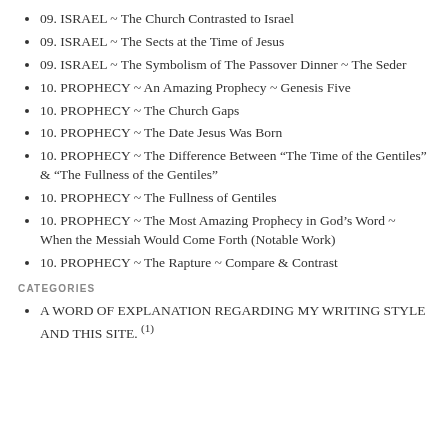09. ISRAEL ~ The Church Contrasted to Israel
09. ISRAEL ~ The Sects at the Time of Jesus
09. ISRAEL ~ The Symbolism of The Passover Dinner ~ The Seder
10. PROPHECY ~ An Amazing Prophecy ~ Genesis Five
10. PROPHECY ~ The Church Gaps
10. PROPHECY ~ The Date Jesus Was Born
10. PROPHECY ~ The Difference Between “The Time of the Gentiles” & “The Fullness of the Gentiles”
10. PROPHECY ~ The Fullness of Gentiles
10. PROPHECY ~ The Most Amazing Prophecy in God’s Word ~ When the Messiah Would Come Forth (Notable Work)
10. PROPHECY ~ The Rapture ~ Compare & Contrast
CATEGORIES
A WORD OF EXPLANATION REGARDING MY WRITING STYLE AND THIS SITE. (1)